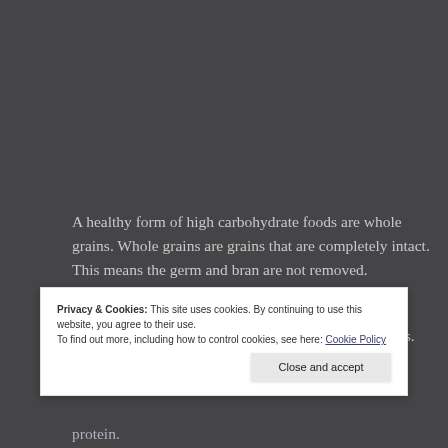A healthy form of high carbohydrate foods are whole grains. Whole grains are grains that are completely intact. This means the germ and bran are not removed.
These foods are typically high in fibre which prevents constipation and promotes healthier bowel movements. Consuming fibre also helps protect against heart
Privacy & Cookies: This site uses cookies. By continuing to use this website, you agree to their use.
To find out more, including how to control cookies, see here: Cookie Policy
[Close and accept]
protein.